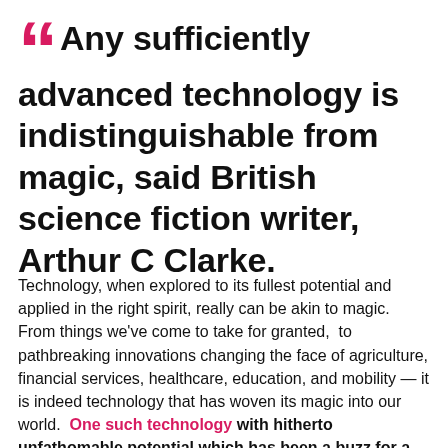“Any sufficiently advanced technology is indistinguishable from magic, said British science fiction writer, Arthur C Clarke.
Technology, when explored to its fullest potential and applied in the right spirit, really can be akin to magic. From things we’ve come to take for granted,  to pathbreaking innovations changing the face of agriculture, financial services, healthcare, education, and mobility — it is indeed technology that has woven its magic into our world.  One such technology with hitherto unfathomable potential which has been a buzz for a while now is blockchain.